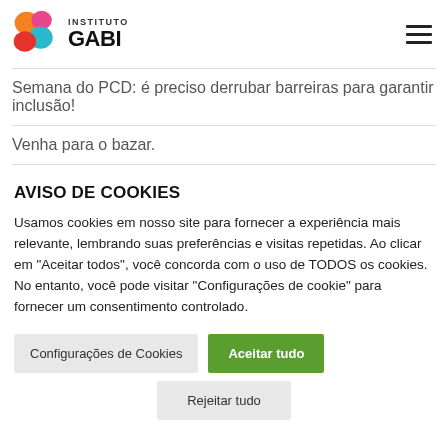[Figure (logo): Instituto GABI logo with colorful blobs and bold text]
Semana do PCD: é preciso derrubar barreiras para garantir inclusão!
Venha para o bazar.
AVISO DE COOKIES
Usamos cookies em nosso site para fornecer a experiência mais relevante, lembrando suas preferências e visitas repetidas. Ao clicar em "Aceitar todos", você concorda com o uso de TODOS os cookies. No entanto, você pode visitar "Configurações de cookie" para fornecer um consentimento controlado.
Configurações de Cookies
Aceitar tudo
Rejeitar tudo